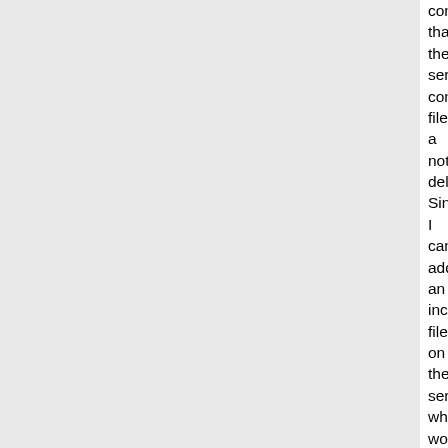configuration that the server config files are not delivering. Since I cannot add an include file on the server, which would be the most elegant solution, I need to find another way. The question here is where and in what boot phase can I add those configurations to the phone, without access to the .cfg files on the server?
I could introduce a tftp server with DHCP but would have to be careful not to break the provisioning relationship between the phone and the asterisk server.

So, can I tell the phone during the boot process something like:
"Here is your IP address and there is a tftp server.. but only load one small .cfg file on tftp server and then continue with getting the rest of your configuration from your autoprovisioning server in the cloud..

Having better knowledge of the boot process in detail might help me understand.

Thanks for your help